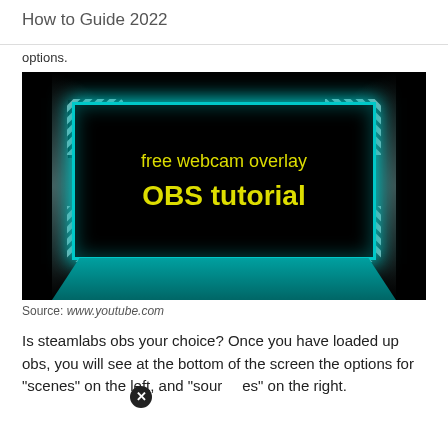How to Guide 2022
options.
[Figure (screenshot): YouTube video thumbnail for a 'free webcam overlay OBS tutorial' showing yellow text on a black background with a teal glowing frame border and diagonal striped corners.]
Source: www.youtube.com
Is steamlabs obs your choice? Once you have loaded up obs, you will see at the bottom of the screen the options for "scenes" on the left, and "sources" on the right.